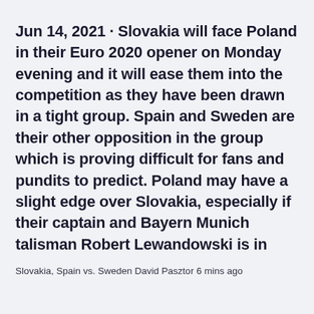Jun 14, 2021 · Slovakia will face Poland in their Euro 2020 opener on Monday evening and it will ease them into the competition as they have been drawn in a tight group. Spain and Sweden are their other opposition in the group which is proving difficult for fans and pundits to predict. Poland may have a slight edge over Slovakia, especially if their captain and Bayern Munich talisman Robert Lewandowski is in
Slovakia, Spain vs. Sweden David Pasztor 6 mins ago